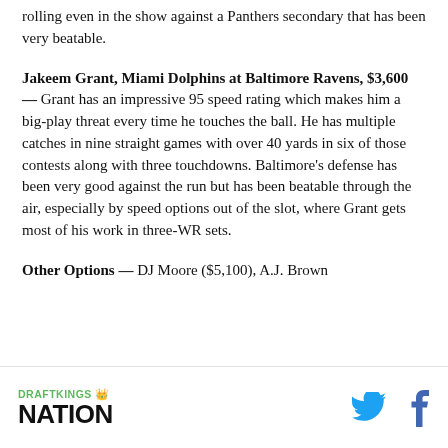rolling even in the show against a Panthers secondary that has been very beatable.
Jakeem Grant, Miami Dolphins at Baltimore Ravens, $3,600 — Grant has an impressive 95 speed rating which makes him a big-play threat every time he touches the ball. He has multiple catches in nine straight games with over 40 yards in six of those contests along with three touchdowns. Baltimore's defense has been very good against the run but has been beatable through the air, especially by speed options out of the slot, where Grant gets most of his work in three-WR sets.
Other Options — DJ Moore ($5,100), A.J. Brown
DRAFTKINGS NATION